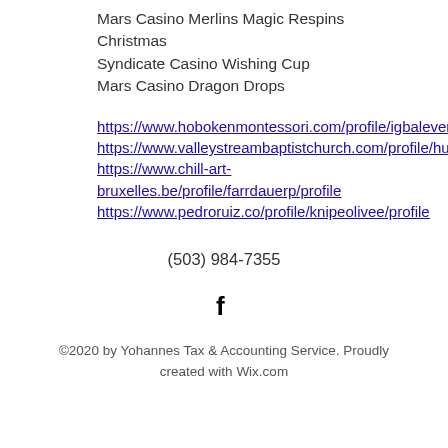Mars Casino Merlins Magic Respins Christmas
Syndicate Casino Wishing Cup
Mars Casino Dragon Drops
https://www.hobokenmontessori.com/profile/igbalevensq/profile
https://www.valleystreambaptistchurch.com/profile/huckslietok/profile
https://www.chill-art-bruxelles.be/profile/farrdauerp/profile
https://www.pedroruiz.co/profile/knipeolivee/profile
(503) 984-7355
[Figure (logo): Facebook logo icon (f)]
©2020 by Yohannes Tax & Accounting Service. Proudly created with Wix.com